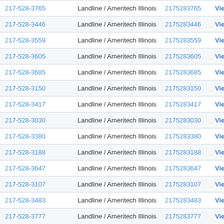| Phone | Type | Numeric | Action |
| --- | --- | --- | --- |
| 217-528-3765 | Landline / Ameritech Illinois | 2175283765 | View R |
| 217-528-3446 | Landline / Ameritech Illinois | 2175283446 | View R |
| 217-528-3559 | Landline / Ameritech Illinois | 2175283559 | View R |
| 217-528-3605 | Landline / Ameritech Illinois | 2175283605 | View R |
| 217-528-3685 | Landline / Ameritech Illinois | 2175283685 | View R |
| 217-528-3150 | Landline / Ameritech Illinois | 2175283150 | View R |
| 217-528-3417 | Landline / Ameritech Illinois | 2175283417 | View R |
| 217-528-3030 | Landline / Ameritech Illinois | 2175283030 | View R |
| 217-528-3380 | Landline / Ameritech Illinois | 2175283380 | View R |
| 217-528-3188 | Landline / Ameritech Illinois | 2175283188 | View R |
| 217-528-3647 | Landline / Ameritech Illinois | 2175283647 | View R |
| 217-528-3107 | Landline / Ameritech Illinois | 2175283107 | View R |
| 217-528-3483 | Landline / Ameritech Illinois | 2175283483 | View R |
| 217-528-3777 | Landline / Ameritech Illinois | 2175283777 | View R |
| 217-528-3463 | Landline / Ameritech Illinois | 2175283463 | R |
| 217-528-3838 | Landline / Ameritech Illinois | 2175283838 | w R |
| 217-528-3856 | Landline / Ameritech Illinois | 2175283856 | View R |
| 217-528-3612 | Landline / Ameritech Illinois | 2175283612 | View R |